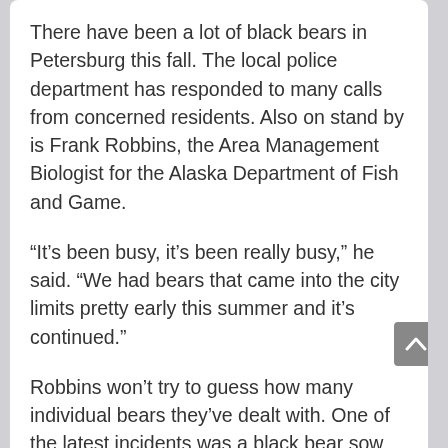There have been a lot of black bears in Petersburg this fall. The local police department has responded to many calls from concerned residents. Also on stand by is Frank Robbins, the Area Management Biologist for the Alaska Department of Fish and Game.
“It’s been busy, it’s been really busy,” he said. “We had bears that came into the city limits pretty early this summer and it’s continued.”
Robbins won’t try to guess how many individual bears they’ve dealt with. One of the latest incidents was a black bear sow and her three cubs near Petersburg’s elementary school Tuesday afternoon. The four bears were chased out of town by local police shooting